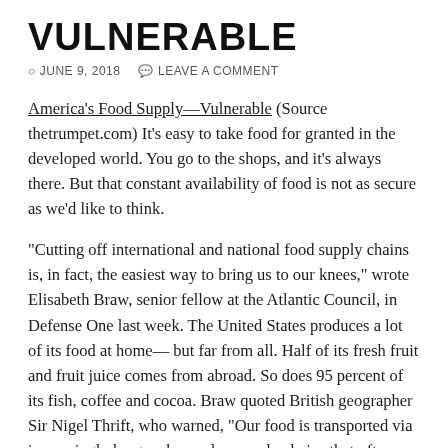VULNERABLE
JUNE 9, 2018   LEAVE A COMMENT
America's Food Supply—Vulnerable (Source thetrumpet.com) It's easy to take food for granted in the developed world. You go to the shops, and it's always there. But that constant availability of food is not as secure as we'd like to think.
"Cutting off international and national food supply chains is, in fact, the easiest way to bring us to our knees," wrote Elisabeth Braw, senior fellow at the Atlantic Council, in Defense One last week. The United States produces a lot of its food at home—but far from all. Half of its fresh fruit and fruit juice comes from abroad. So does 95 percent of its fish, coffee and cocoa. Braw quoted British geographer Sir Nigel Thrift, who warned, "Our food is transported via increasingly long and complex supply chains that often involve ships; at any given time there are some 100,000 ships at sea transporting food and other